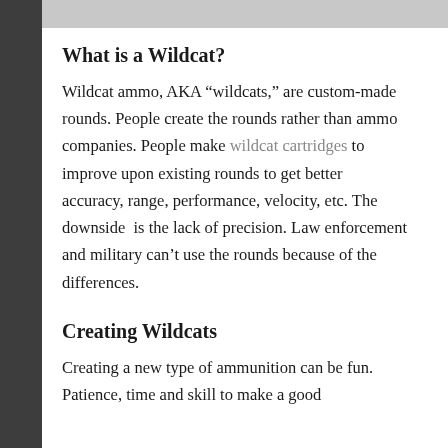[Figure (photo): Gray image banner at top of page]
What is a Wildcat?
Wildcat ammo, AKA “wildcats,” are custom-made rounds. People create the rounds rather than ammo companies. People make wildcat cartridges to improve upon existing rounds to get better accuracy, range, performance, velocity, etc. The downside is the lack of precision. Law enforcement and military can’t use the rounds because of the differences.
Creating Wildcats
Creating a new type of ammunition can be fun. Patience, time and skill to make a good